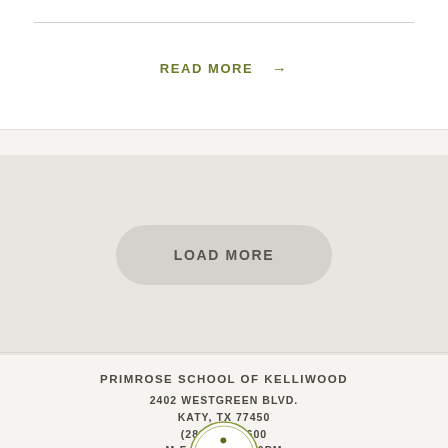READ MORE →
LOAD MORE
PRIMROSE SCHOOL OF KELLIWOOD
2402 WESTGREEN BLVD.
KATY, TX 77450
(281) 828-1600
M-F 6:30AM-6:30PM
[Figure (logo): Service Excellence Assurance circular badge/logo]